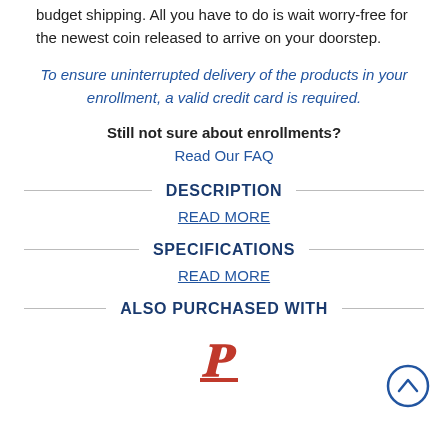budget shipping. All you have to do is wait worry-free for the newest coin released to arrive on your doorstep.
To ensure uninterrupted delivery of the products in your enrollment, a valid credit card is required.
Still not sure about enrollments?
Read Our FAQ
DESCRIPTION
READ MORE
SPECIFICATIONS
READ MORE
ALSO PURCHASED WITH
[Figure (logo): Red italic letter logo mark]